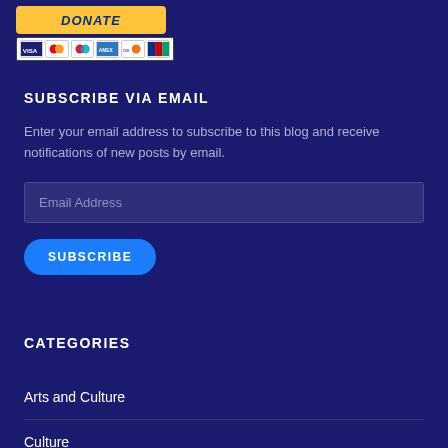[Figure (screenshot): PayPal donate button with credit card icons (Visa, Mastercard, Maestro, American Express, Discover, JCB) below it]
SUBSCRIBE VIA EMAIL
Enter your email address to subscribe to this blog and receive notifications of new posts by email.
Email Address
SUBSCRIBE
CATEGORIES
Arts and Culture
Culture
Equality